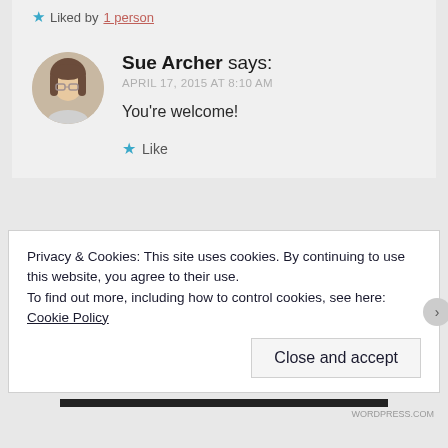★ Liked by 1 person
Sue Archer says: APRIL 17, 2015 AT 8:10 AM
You're welcome!
★ Like
Privacy & Cookies: This site uses cookies. By continuing to use this website, you agree to their use. To find out more, including how to control cookies, see here: Cookie Policy
Close and accept